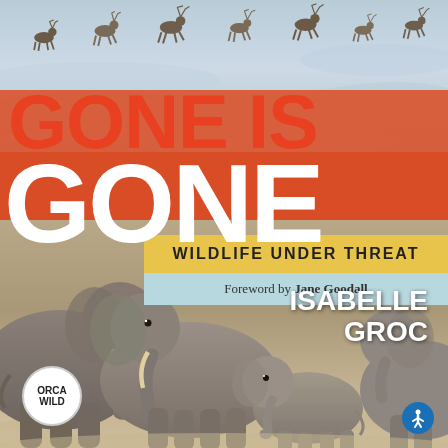[Figure (photo): Book cover of 'Gone Is Gone: Wildlife Under Threat' by Isabelle Groc. Top portion shows reindeer running across a snowy landscape. Bottom portion shows a herd of elephants including a baby elephant in a dry, dusty environment. Large bold text reads 'GONE IS GONE' in red/white against orange and red bands. A yellow band reads 'WILDLIFE UNDER THREAT'. A light blue band reads 'Foreword by Jane Goodall'. Author name 'ISABELLE GROC' appears in white over the elephant photo. Bottom left shows the 'ORCA WILD' publisher logo in a white circle. Bottom right shows a blue accessibility icon.]
GONE IS GONE
WILDLIFE UNDER THREAT
Foreword by Jane Goodall
ISABELLE GROC